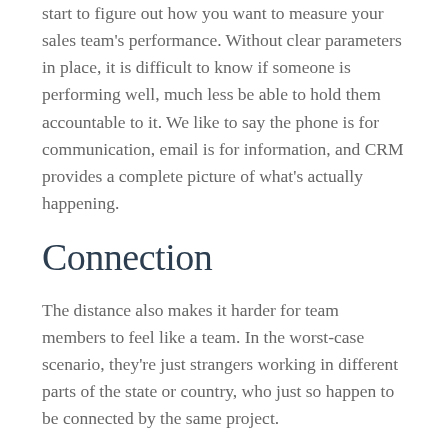start to figure out how you want to measure your sales team's performance. Without clear parameters in place, it is difficult to know if someone is performing well, much less be able to hold them accountable to it. We like to say the phone is for communication, email is for information, and CRM provides a complete picture of what's actually happening.
Connection
The distance also makes it harder for team members to feel like a team. In the worst-case scenario, they're just strangers working in different parts of the state or country, who just so happen to be connected by the same project.